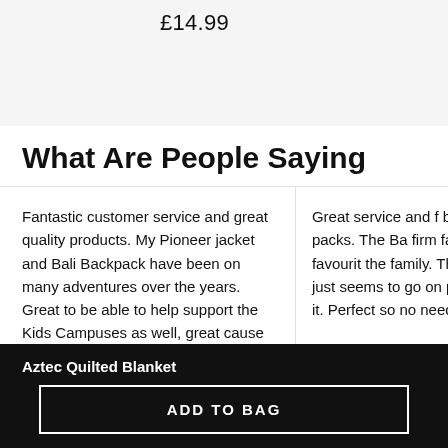£14.99
What Are People Saying
Fantastic customer service and great quality products. My Pioneer jacket and Bali Backpack have been on many adventures over the years. Great to be able to help support the Kids Campuses as well, great cause that I will continue to support!
Great service and f... back packs. The Ba... firm family favourit... the family. The Bali just seems to go on... packing it. Perfect ... so no need for a litt...
Aztec Quilted Blanket
ADD TO BAG